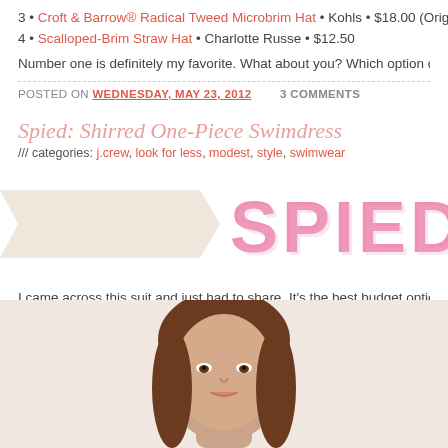3 • Croft & Barrow® Radical Tweed Microbrim Hat • Kohls • $18.00 (Orig. $30)
4 • Scalloped-Brim Straw Hat • Charlotte Russe • $12.50
Number one is definitely my favorite. What about you? Which option do you think is
POSTED ON WEDNESDAY, MAY 23, 2012   3 COMMENTS
Spied: Shirred One-Piece Swimdress
/// categories: j.crew, look for less, modest, style, swimwear
[Figure (illustration): Decorative blog banner with a beige ribbon/banner shape on the left and large pink decorative text reading 'SPIED' on the right.]
I came across this suit and just had to share. It's the best budget option of this J.Cr... come in a great selection of colors, has glowing reviews and is on sale. That, my fr...
[Figure (photo): Photo of a woman with brown hair wearing a swimdress, cropped at the shoulders, shown from approximately chest up.]